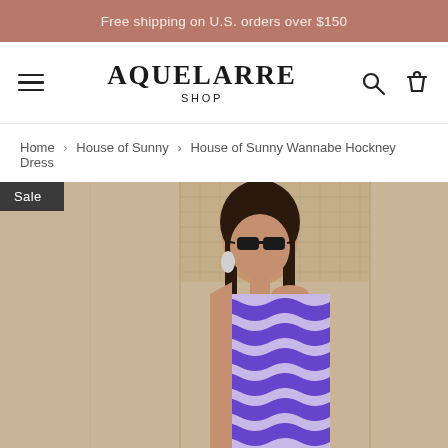Free shipping on U.S. orders over $150
AQUELARRE SHOP
Home › House of Sunny › House of Sunny Wannabe Hockney Dress
[Figure (photo): Model wearing a purple and white zigzag pattern halter/one-shoulder dress (House of Sunny Wannabe Hockney Dress), sunglasses, standing in front of a wooden panel wall. Sale tag overlay in top-left corner.]